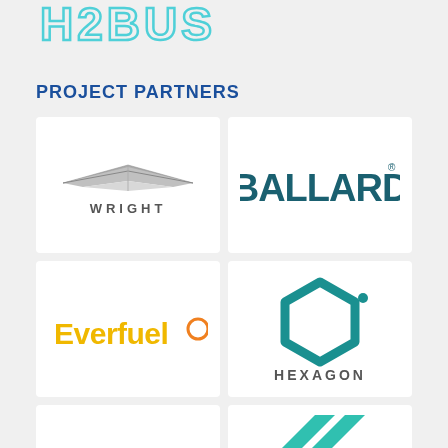[Figure (logo): H2BUS project logo in teal/cyan color, partially visible at top]
PROJECT PARTNERS
[Figure (logo): Wright bus company logo - grey wing-style graphic with WRIGHT text below]
[Figure (logo): BALLARD logo in dark teal/navy bold text with registered trademark symbol]
[Figure (logo): Everfuel logo in yellow/gold text with orange circle symbol]
[Figure (logo): HEXAGON logo with teal hexagon shape and HEXAGON text below]
[Figure (logo): Partially visible logos in bottom row - left is blank white, right shows teal arrow/bracket shapes]